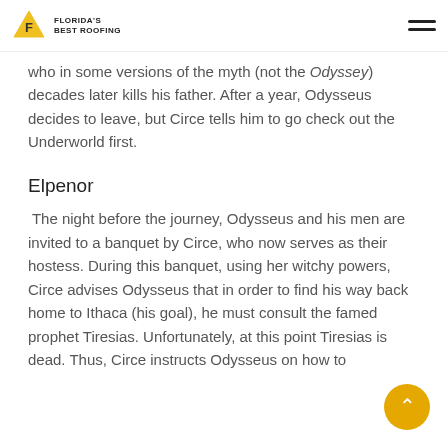Florida's Best Roofing
who in some versions of the myth (not the Odyssey) decades later kills his father. After a year, Odysseus decides to leave, but Circe tells him to go check out the Underworld first.
Elpenor
The night before the journey, Odysseus and his men are invited to a banquet by Circe, who now serves as their hostess. During this banquet, using her witchy powers, Circe advises Odysseus that in order to find his way back home to Ithaca (his goal), he must consult the famed prophet Tiresias. Unfortunately, at this point Tiresias is dead. Thus, Circe instructs Odysseus on how to